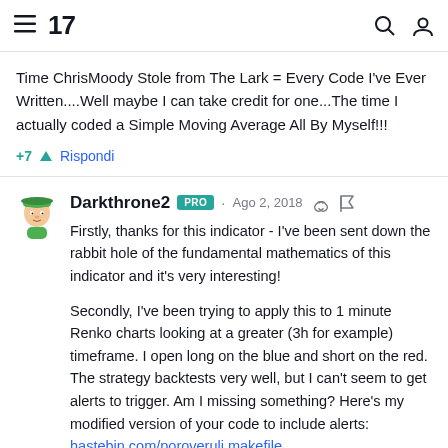TradingView
Time ChrisMoody Stole from The Lark = Every Code I've Ever Written....Well maybe I can take credit for one...The time I actually coded a Simple Moving Average All By Myself!!!
+7 Rispondi
Darkthrone2 PRO · Ago 2, 2018
Firstly, thanks for this indicator - I've been sent down the rabbit hole of the fundamental mathematics of this indicator and it's very interesting!
Secondly, I've been trying to apply this to 1 minute Renko charts looking at a greater (3h for example) timeframe. I open long on the blue and short on the red. The strategy backtests very well, but I can't seem to get alerts to trigger. Am I missing something? Here's my modified version of your code to include alerts: hastebin.com/poroveruli.makefile